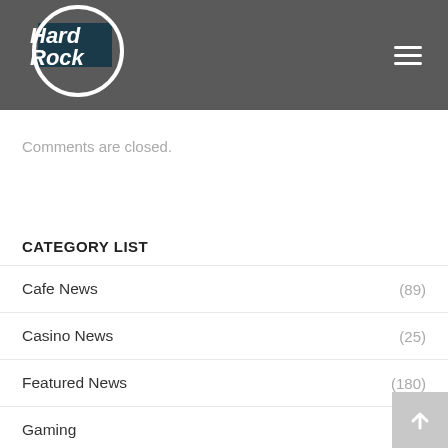[Figure (logo): Hard Rock logo: white circle outline with dark navy rectangle behind italic white 'Hard Rock' text, on dark gray header background with hamburger menu icon on right]
Comments are closed.
CATEGORY LIST
Cafe News (89)
Casino News (25)
Featured News (180)
Gaming (25)
Hard Rock Heals Foundation (13)